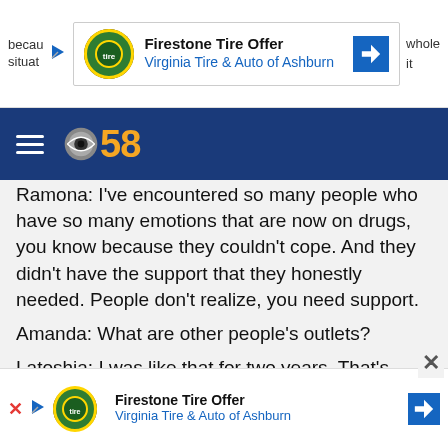[Figure (screenshot): Top advertisement banner: Firestone Tire Offer - Virginia Tire & Auto of Ashburn, with logo and blue arrow icon]
[Figure (logo): CBS 58 navigation bar with hamburger menu icon and gold CBS 58 logo on dark blue background]
Ramona: I've encountered so many people who have so many emotions that are now on drugs, you know because they couldn't cope. And they didn't have the support that they honestly needed. People don't realize, you need support.
Amanda: What are other people's outlets?
Latoshia: I was like that for two years. That's what I mean by I tried to go crazy. I literally told my family I am getting drunk today.  I didn't sleep in my bedroom I slept on the couch because I wanted to be by the
[Figure (screenshot): Bottom advertisement banner: Firestone Tire Offer - Virginia Tire & Auto of Ashburn, with logo and blue arrow icon]